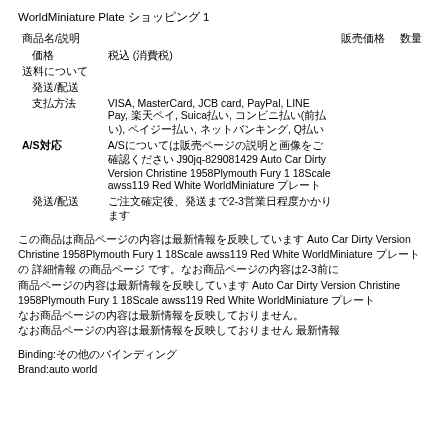WorldMiniature Plate ショッピング 1
| 商品名/説明 |  | 販売価格 | 数量 |
| --- | --- | --- | --- |
| 価格 | 税込 (消費税) |  |  |
| 送料について |  |  |  |
| 発送/配送 |  |  |  |
| 支払方法 | VISA, MasterCard, JCB card, PayPal, LINE Pay, 楽天ペイ, Suica払い, コンビニ払い(前払い), ペイジー払い, ネットバンキング, Q払い |  |  |
| A/S対応 | A/Sについては販売ページの説明と画像をご確認ください J90jq-829081429 Auto Car Dirty Version Christine 1958Plymouth Fury 1 18Scale awss119 Red White WorldMiniature プレート |  |  |
| 発送/配送 | ご注文確定後、発送まで2-3営業日程度かかります |  |  |
この商品はAuto Car Dirty Version Christine 1958Plymouth Fury 1 18Scale awss119 Red White WorldMiniature プレート の 詳細情報 の商品ページ です。なお商品ページの内容は2-3前に Auto Car Dirty Version Christine 1958Plymouth Fury 1 18Scale awss119 Red White WorldMiniature プレート の最新情報を反映しています。なお商品ページの内容は最新情報を反映していない。なお商品ページの内容は最新情報を反映しておりません 最新情報
Binding:その他のバインディング
Brand:auto world